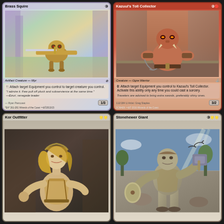[Figure (illustration): Magic: The Gathering card - Brass Squire. Artifact Creature - Myr. Cost: 3. Power/Toughness: 1/3. Ability: T: Attach target Equipment you control to target creature you control. Flavor text: 'I admire it. Few pull off pluck and subservience at the same time.' —Ezuri, renegade leader. Artist: Ryan Pancoast. Holographic/rainbow art showing a small myr robot carrying equipment.]
[Figure (illustration): Magic: The Gathering card - Kazuul's Toll Collector. Creature - Ogre Warrior. Cost: 2R. Power/Toughness: 3/2. Ability: 0: Attach target Equipment you control to Kazuul's Toll Collector. Activate this ability only any time you could cast a sorcery. Flavor text: Travelers are advised to bring extra swords, preferably shiny ones. Artist: Greg Staples. Red card showing muscular ogre warrior.]
[Figure (illustration): Magic: The Gathering card - Kor Outfitter. White card showing a female warrior with blonde hair in armor. Card is partially cut off showing only top portion with name, cost symbols, and art.]
[Figure (illustration): Magic: The Gathering card - Stonehewer Giant. Cost: 3WW. White card showing a large giant carrying a hammer/weapon with birds flying around rocky terrain in background. Card is partially cut off.]